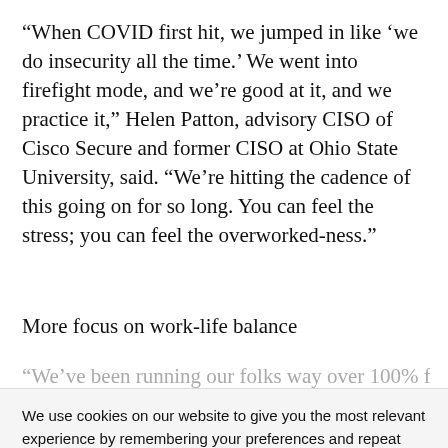“When COVID first hit, we jumped in like ‘we do insecurity all the time.’ We went into firefight mode, and we’re good at it, and we practice it,” Helen Patton, advisory CISO of Cisco Secure and former CISO at Ohio State University, said. “We’re hitting the cadence of this going on for so long. You can feel the stress; you can feel the overworked-ness.”
More focus on work-life balance
“We’ve been running our folks way over 100% for
We use cookies on our website to give you the most relevant experience by remembering your preferences and repeat visits. By clicking “Accept”, you consent to the use of ALL the cookies.
Do not sell my personal information.